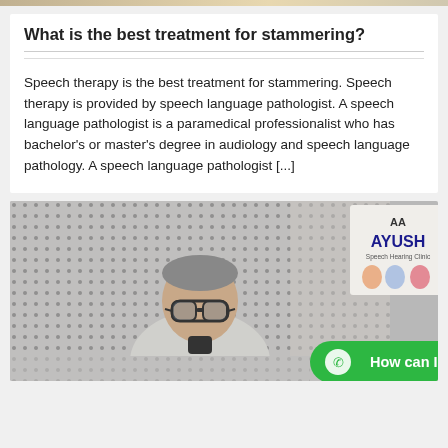What is the best treatment for stammering?
Speech therapy is the best treatment for stammering. Speech therapy is provided by speech language pathologist. A speech language pathologist is a paramedical professionalist who has bachelor's or master's degree in audiology and speech language pathology. A speech language pathologist [...]
[Figure (photo): An older man with glasses seated in front of a dotted/perforated board backdrop with an AYUSH Speech Hearing Clinic sign visible. A WhatsApp chat button reading 'How can I help you?' is overlaid at the bottom right.]